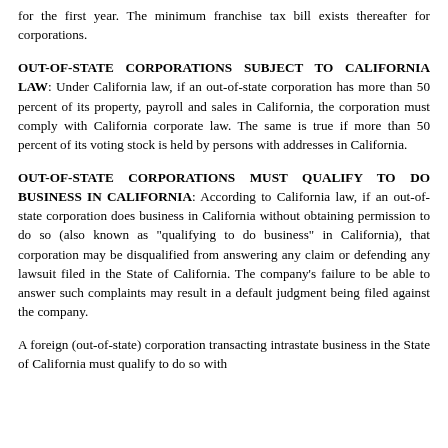for the first year. The minimum franchise tax bill exists thereafter for corporations.
OUT-OF-STATE CORPORATIONS SUBJECT TO CALIFORNIA LAW: Under California law, if an out-of-state corporation has more than 50 percent of its property, payroll and sales in California, the corporation must comply with California corporate law. The same is true if more than 50 percent of its voting stock is held by persons with addresses in California.
OUT-OF-STATE CORPORATIONS MUST QUALIFY TO DO BUSINESS IN CALIFORNIA: According to California law, if an out-of-state corporation does business in California without obtaining permission to do so (also known as "qualifying to do business" in California), that corporation may be disqualified from answering any claim or defending any lawsuit filed in the State of California. The company's failure to be able to answer such complaints may result in a default judgment being filed against the company.
A foreign (out-of-state) corporation transacting intrastate business in the State of California must qualify to do so with